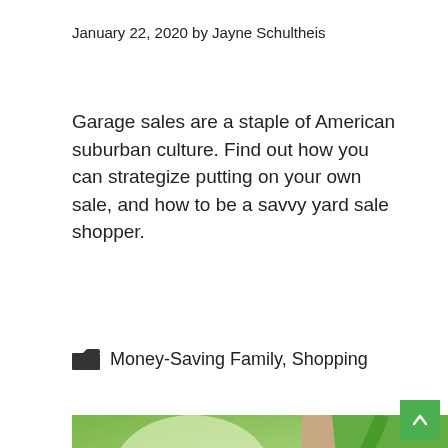January 22, 2020 by Jayne Schultheis
Garage sales are a staple of American suburban culture. Find out how you can strategize putting on your own sale, and how to be a savvy yard sale shopper.
Money-Saving Family, Shopping
[Figure (photo): Woman wearing a green apron holding a tablet, with a blurred green background and a flower visible in the lower right corner.]